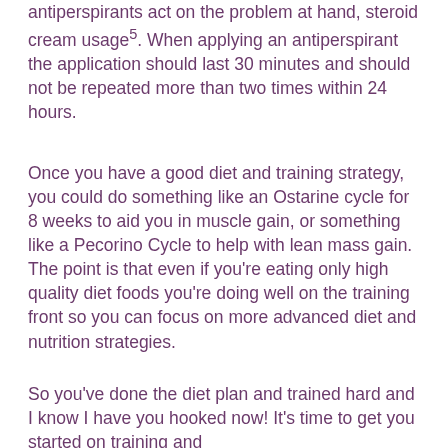antiperspirants act on the problem at hand, steroid cream usage5. When applying an antiperspirant the application should last 30 minutes and should not be repeated more than two times within 24 hours.
Once you have a good diet and training strategy, you could do something like an Ostarine cycle for 8 weeks to aid you in muscle gain, or something like a Pecorino Cycle to help with lean mass gain. The point is that even if you're eating only high quality diet foods you're doing well on the training front so you can focus on more advanced diet and nutrition strategies.
So you've done the diet plan and trained hard and I know I have you hooked now! It's time to get you started on training and